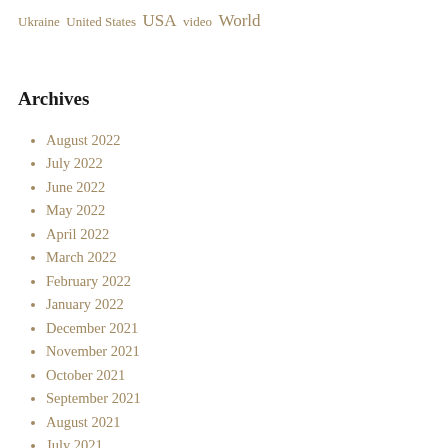Ukraine  United States  USA  video  World
Archives
August 2022
July 2022
June 2022
May 2022
April 2022
March 2022
February 2022
January 2022
December 2021
November 2021
October 2021
September 2021
August 2021
July 2021